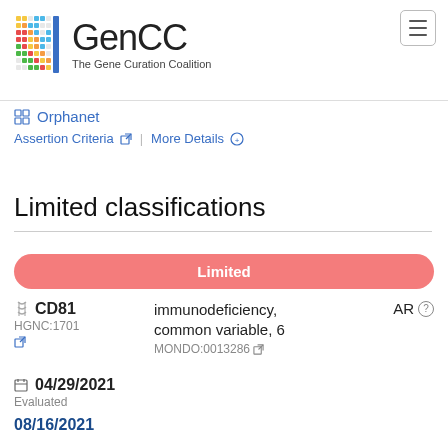[Figure (logo): GenCC – The Gene Curation Coalition logo with colorful mosaic grid icon on the left]
Orphanet
Assertion Criteria ↗ | More Details ⊕
Limited classifications
Limited
CD81 HGNC:1701 ↗  immunodeficiency, common variable, 6  MONDO:0013286 ↗  AR
04/29/2021
Evaluated
08/16/2021